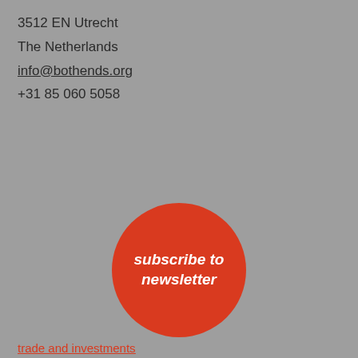3512 EN Utrecht
The Netherlands
info@bothends.org
+31 85 060 5058
[Figure (other): Red circle button with italic bold white text reading 'subscribe to newsletter']
This website uses cookies to ensure you get the best experience on our website.
Learn more
Decline
Allow cookies
trade and investments